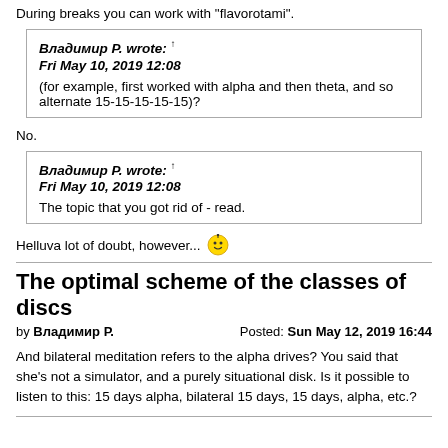During breaks you can work with "flavorotami".
Владимир Р. wrote: ↑
Fri May 10, 2019 12:08
(for example, first worked with alpha and then theta, and so alternate 15-15-15-15-15)?
No.
Владимир Р. wrote: ↑
Fri May 10, 2019 12:08
The topic that you got rid of - read.
Helluva lot of doubt, however...
The optimal scheme of the classes of discs
by Владимир Р.   Posted: Sun May 12, 2019 16:44
And bilateral meditation refers to the alpha drives? You said that she's not a simulator, and a purely situational disk. Is it possible to listen to this: 15 days alpha, bilateral 15 days, 15 days, alpha, etc.?